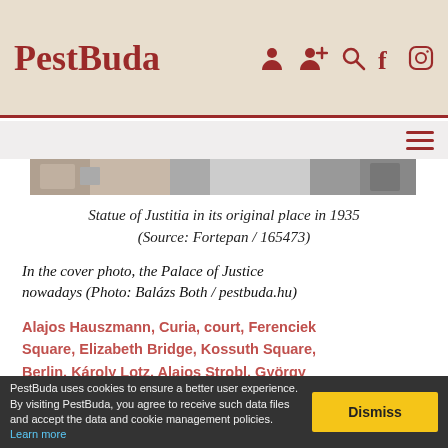PestBuda
[Figure (photo): Top portion of a black and white photograph visible at top of content area]
Statue of Justitia in its original place in 1935 (Source: Fortepan / 165473)
In the cover photo, the Palace of Justice nowadays (Photo: Balázs Both / pestbuda.hu)
Alajos Hauszmann, Curia, court, Ferenciek Square, Elizabeth Bridge, Kossuth Square, Berlin, Károly Lotz, Alajos Strobl, György Zala, Péter Bodó, Architecture
PestBuda uses cookies to ensure a better user experience. By visiting PestBuda, you agree to receive such data files and accept the data and cookie management policies. Learn more  Dismiss